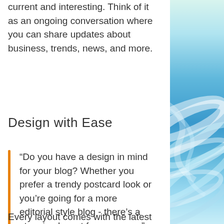current and interesting. Think of it as an ongoing conversation where you can share updates about business, trends, news, and more.
Design with Ease
“Do you have a design in mind for your blog? Whether you prefer a trendy postcard look or you’re going for a more editorial style blog - there’s a stunning layout for everyone.”
Every layout comes with the latest
[Figure (illustration): Abstract swirling blue and white wave pattern decorative image on the right side of the page, with a light green tint at the top.]